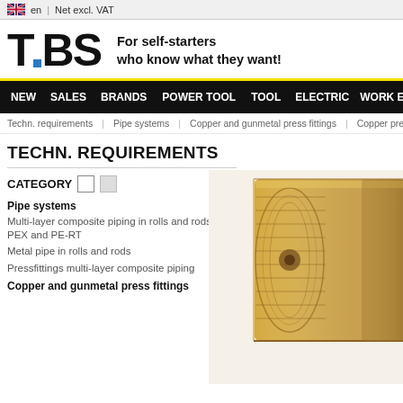en | Net excl. VAT
[Figure (logo): TBS logo with blue square dot and tagline: For self-starters who know what they want!]
NEW  SALES  BRANDS  POWER TOOL  TOOL  ELECTRIC  WORK EQU...
Techn. requirements  |  Pipe systems  |  Copper and gunmetal press fittings  |  Copper press sy...
TECHN. REQUIREMENTS
CATEGORY
Pipe systems
Multi-layer composite piping in rolls and rods PEX and PE-RT
Metal pipe in rolls and rods
Pressfittings multi-layer composite piping
Copper and gunmetal press fittings
[Figure (photo): Close-up photo of a brass/gunmetal pipe fitting connector]